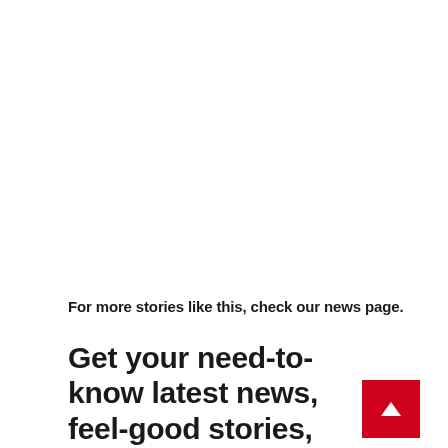For more stories like this, check our news page.
Get your need-to-know latest news, feel-good stories, analysis and more